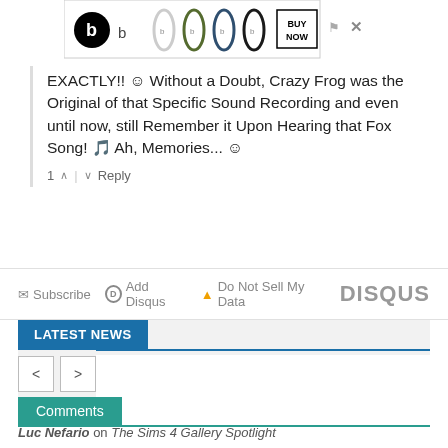[Figure (photo): Beats headphone advertisement banner with multiple colored headphones and BUY NOW button, with close/flag icons]
EXACTLY!! 😊 Without a Doubt, Crazy Frog was the Original of that Specific Sound Recording and even until now, still Remember it Upon Hearing that Fox Song! 🎵 Ah, Memories... 😊
1 ∧ | ∨  Reply
✉ Subscribe  ⓓ Add Disqus  ▲ Do Not Sell My Data    DISQUS
LATEST NEWS
< >
Comments
Luc Nefario on The Sims 4 Gallery Spotlight